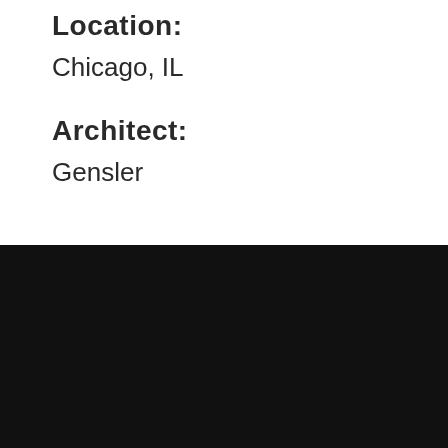Location:
Chicago, IL
Architect:
Gensler
PASSION YOU CAN SEE
2010 - 2021
[Figure (other): Social media icons: Facebook, LinkedIn, Pinterest, Instagram]
Copyright © 2022 GGLD · Website by Houndstooth Media Group